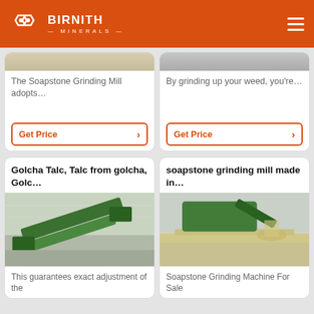[Figure (logo): Birnith Minerals logo with orange hexagonal icon and white text on orange header bar]
The Soapstone Grinding Mill adopts…
Get Price
By grinding up your weed, you're…
Get Price
Golcha Talc, Talc from golcha, Golc…
[Figure (photo): Industrial green conveyor/sorting machine inside a large warehouse facility]
This guarantees exact adjustment of the
soapstone grinding mill made in…
[Figure (photo): Green industrial rock crushing/grinding machine pouring material onto brick blocks outdoors]
Soapstone Grinding Machine For Sale